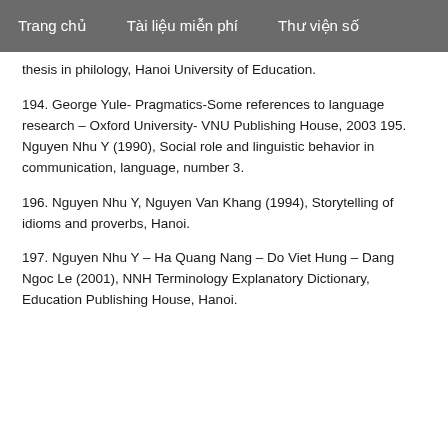Trang chủ   Tài liệu miễn phí   Thư viện số
thesis in philology, Hanoi University of Education.
194. George Yule- Pragmatics-Some references to language research – Oxford University- VNU Publishing House, 2003 195. Nguyen Nhu Y (1990), Social role and linguistic behavior in communication, language, number 3.
196. Nguyen Nhu Y, Nguyen Van Khang (1994), Storytelling of idioms and proverbs, Hanoi.
197. Nguyen Nhu Y – Ha Quang Nang – Do Viet Hung – Dang Ngoc Le (2001), NNH Terminology Explanatory Dictionary, Education Publishing House, Hanoi.